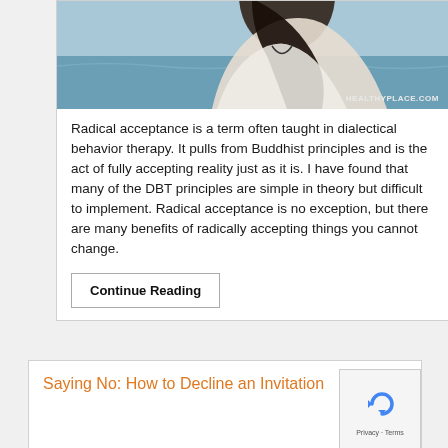[Figure (photo): Woman with long dark hair seen from behind/side, wearing a white lace top, with ocean/blue water in the background. Watermark: HEALTHYPLACE.COM]
Radical acceptance is a term often taught in dialectical behavior therapy. It pulls from Buddhist principles and is the act of fully accepting reality just as it is. I have found that many of the DBT principles are simple in theory but difficult to implement. Radical acceptance is no exception, but there are many benefits of radically accepting things you cannot change.
Continue Reading
Saying No: How to Decline an Invitation